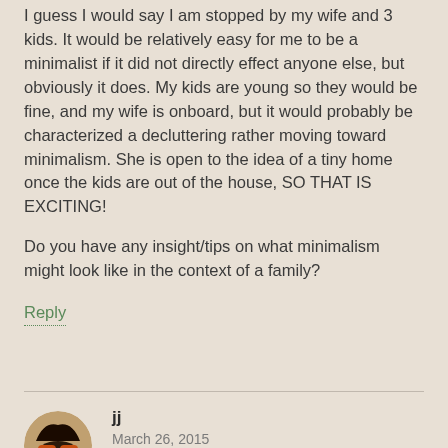I guess I would say I am stopped by my wife and 3 kids. It would be relatively easy for me to be a minimalist if it did not directly effect anyone else, but obviously it does. My kids are young so they would be fine, and my wife is onboard, but it would probably be characterized a decluttering rather moving toward minimalism. She is open to the idea of a tiny home once the kids are out of the house, SO THAT IS EXCITING!
Do you have any insight/tips on what minimalism might look like in the context of a family?
Reply
[Figure (photo): Circular avatar photo showing feet with orange socks]
jj
March 26, 2015
Hi KeithTheConfused, I hope you don't think I was having a go at you as I wasn't, I was genuinely interested in what you perceive to be in the way of achieving being more 'minimalist'. IMHO we don't have to live in teeny tiny houses, but we do need to live more mindfully, thinking & reflecting on why we are buying more stuff